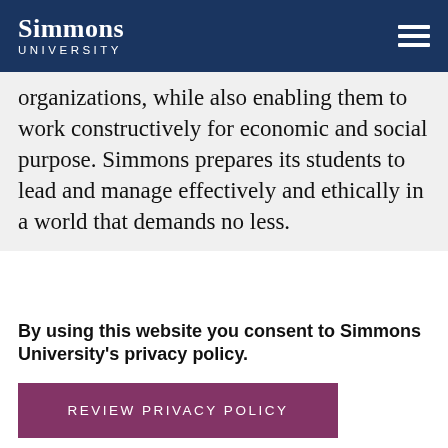Simmons University
organizations, while also enabling them to work constructively for economic and social purpose. Simmons prepares its students to lead and manage effectively and ethically in a world that demands no less.
By using this website you consent to Simmons University's privacy policy.
REVIEW PRIVACY POLICY
DISMISS